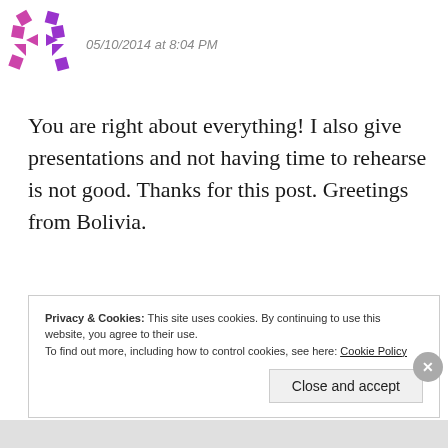[Figure (logo): Pink/purple angular geometric logo made of pinwheel-like arrow shapes]
05/10/2014 at 8:04 PM
You are right about everything! I also give presentations and not having time to rehearse is not good. Thanks for this post. Greetings from Bolivia.
★ Like
Reply
Privacy & Cookies: This site uses cookies. By continuing to use this website, you agree to their use.
To find out more, including how to control cookies, see here: Cookie Policy
Close and accept